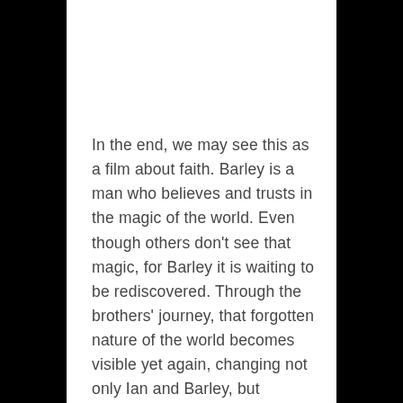In the end, we may see this as a film about faith. Barley is a man who believes and trusts in the magic of the world. Even though others don't see that magic, for Barley it is waiting to be rediscovered. Through the brothers' journey, that forgotten nature of the world becomes visible yet again, changing not only Ian and Barley, but everyone who sees what they have done—and come to believe as well.